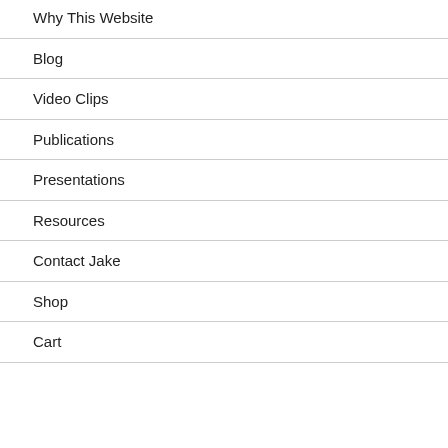Why This Website
Blog
Video Clips
Publications
Presentations
Resources
Contact Jake
Shop
Cart